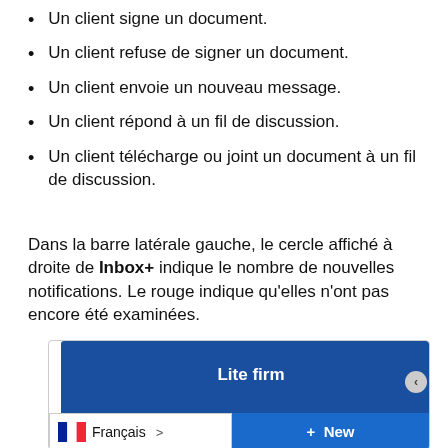Un client signe un document.
Un client refuse de signer un document.
Un client envoie un nouveau message.
Un client répond à un fil de discussion.
Un client télécharge ou joint un document à un fil de discussion.
Dans la barre latérale gauche, le cercle affiché à droite de Inbox+ indique le nombre de nouvelles notifications. Le rouge indique qu'elles n'ont pas encore été examinées.
[Figure (screenshot): Screenshot showing a sidebar UI with a dark blue panel labeled 'Lite firm', a language selector showing French flag and 'Français >' button, and a blue '+ New' button.]